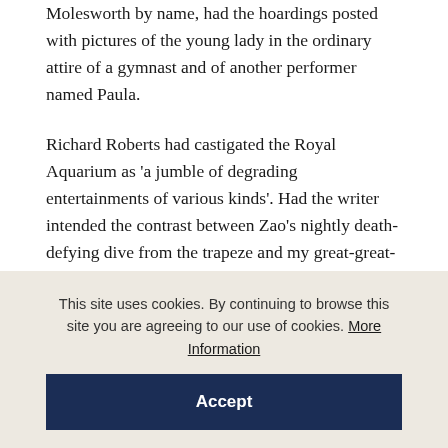Molesworth by name, had the hoardings posted with pictures of the young lady in the ordinary attire of a gymnast and of another performer named Paula.
Richard Roberts had castigated the Royal Aquarium as 'a jumble of degrading entertainments of various kinds'. Had the writer intended the contrast between Zao's nightly death-defying dive from the trapeze and my great-great-grandfather's one-off plummet to oblivion?
This site uses cookies. By continuing to browse this site you are agreeing to our use of cookies. More Information
Accept